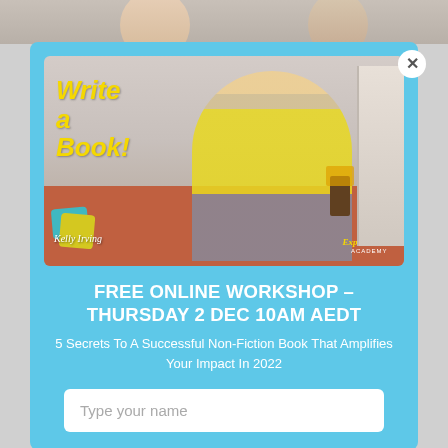[Figure (photo): Partially visible photo strip at top of page showing people]
[Figure (screenshot): Video thumbnail showing a woman in a yellow top and denim jacket with arms outstretched, standing in front of a sofa. Yellow text reads 'Write a Book!' overlaid on the left. Kelly Irving and The Expert Author Academy logos visible.]
FREE ONLINE WORKSHOP - THURSDAY 2 DEC 10AM AEDT
5 Secrets To A Successful Non-Fiction Book That Amplifies Your Impact In 2022
Type your name